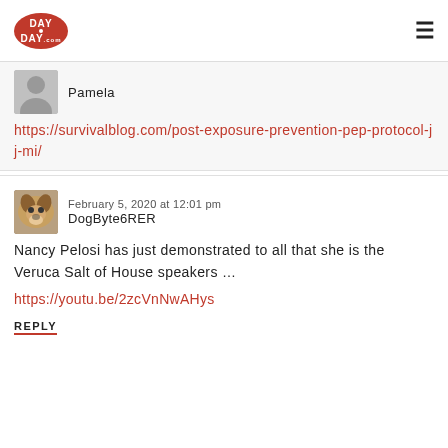DAY DAY .com
Pamela
https://survivalblog.com/post-exposure-prevention-pep-protocol-jj-mi/
February 5, 2020 at 12:01 pm
DogByte6RER
Nancy Pelosi has just demonstrated to all that she is the Veruca Salt of House speakers …
https://youtu.be/2zcVnNwAHys
REPLY